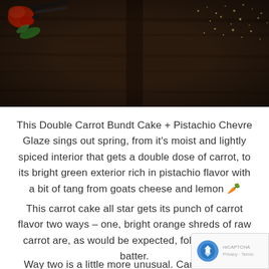[Figure (photo): Dark rustic wooden table background with scissors, a red flower/fabric, green leaves, and scattered herbs/seeds in top right corner.]
This Double Carrot Bundt Cake + Pistachio Chevre Glaze sings out spring, from it's moist and lightly spiced interior that gets a double dose of carrot, to its bright green exterior rich in pistachio flavor with a bit of tang from goats cheese and lemon 🥕
This carrot cake all star gets its punch of carrot flavor two ways – one, bright orange shreds of raw carrot are, as would be expected, folded into the batter.
Way two is a little more unusual. Carrot purée is